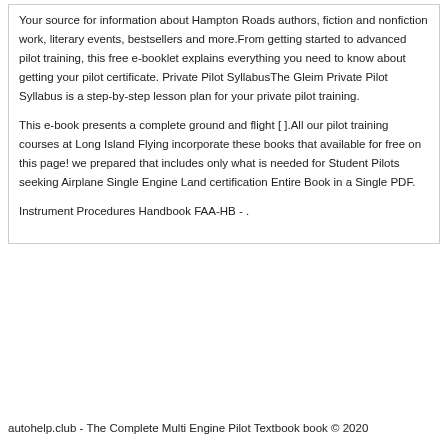Your source for information about Hampton Roads authors, fiction and nonfiction work, literary events, bestsellers and more.From getting started to advanced pilot training, this free e-booklet explains everything you need to know about getting your pilot certificate. Private Pilot SyllabusThe Gleim Private Pilot Syllabus is a step-by-step lesson plan for your private pilot training.

This e-book presents a complete ground and flight [ ].All our pilot training courses at Long Island Flying incorporate these books that available for free on this page! we prepared that includes only what is needed for Student Pilots seeking Airplane Single Engine Land certification Entire Book in a Single PDF.

Instrument Procedures Handbook FAA-HB - .
autohelp.club - The Complete Multi Engine Pilot Textbook book © 2020